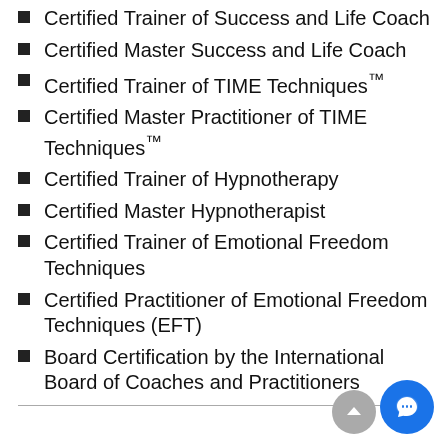Certified Trainer of Success and Life Coach
Certified Master Success and Life Coach
Certified Trainer of TIME Techniques™
Certified Master Practitioner of TIME Techniques™
Certified Trainer of Hypnotherapy
Certified Master Hypnotherapist
Certified Trainer of Emotional Freedom Techniques
Certified Practitioner of Emotional Freedom Techniques (EFT)
Board Certification by the International Board of Coaches and Practitioners